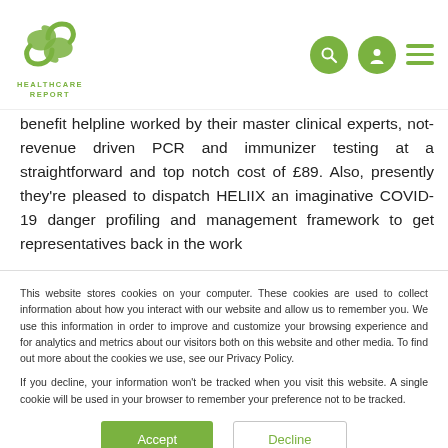[Figure (logo): Healthcare Report logo - green infinity/medical symbol with text HEALTHCARE REPORT below]
benefit helpline worked by their master clinical experts, not-revenue driven PCR and immunizer testing at a straightforward and top notch cost of £89. Also, presently they're pleased to dispatch HELIIX an imaginative COVID-19 danger profiling and management framework to get representatives back in the work
This website stores cookies on your computer. These cookies are used to collect information about how you interact with our website and allow us to remember you. We use this information in order to improve and customize your browsing experience and for analytics and metrics about our visitors both on this website and other media. To find out more about the cookies we use, see our Privacy Policy.
If you decline, your information won't be tracked when you visit this website. A single cookie will be used in your browser to remember your preference not to be tracked.